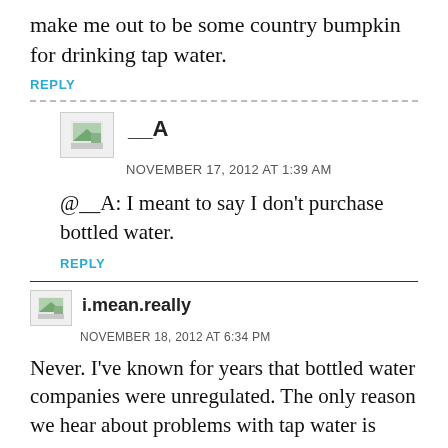make me out to be some country bumpkin for drinking tap water.
REPLY
__A
NOVEMBER 17, 2012 AT 1:39 AM
@__A: I meant to say I don't purchase bottled water.
REPLY
i.mean.really
NOVEMBER 18, 2012 AT 6:34 PM
Never. I've known for years that bottled water companies were unregulated. The only reason we hear about problems with tap water is